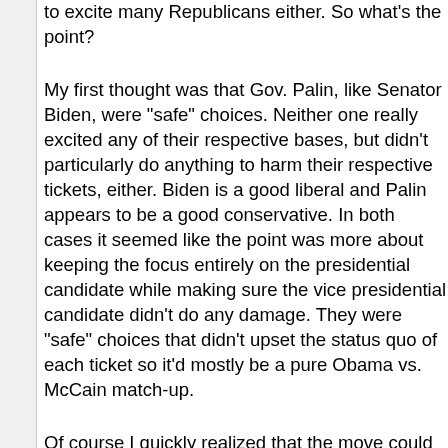to excite many Republicans either. So what's the point?
My first thought was that Gov. Palin, like Senator Biden, were "safe" choices. Neither one really excited any of their respective bases, but didn't particularly do anything to harm their respective tickets, either. Biden is a good liberal and Palin appears to be a good conservative. In both cases it seemed like the point was more about keeping the focus entirely on the presidential candidate while making sure the vice presidential candidate didn't do any damage. They were "safe" choices that didn't upset the status quo of each ticket so it'd mostly be a pure Obama vs. McCain match-up.
Of course I quickly realized that the move could be interpreted (and may very well be) a none-too-subtle play for disenchanted Hillary Clinton supporters. Leading up to the Democratic National Convention then